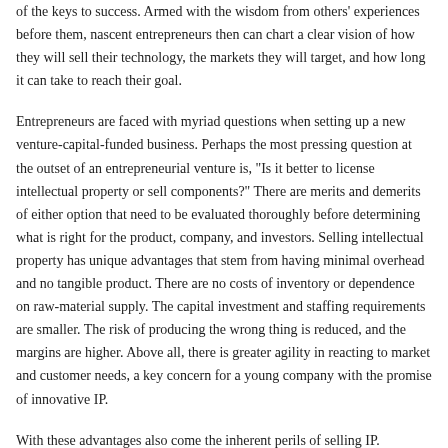of the keys to success. Armed with the wisdom from others' experiences before them, nascent entrepreneurs then can chart a clear vision of how they will sell their technology, the markets they will target, and how long it can take to reach their goal.
Entrepreneurs are faced with myriad questions when setting up a new venture-capital-funded business. Perhaps the most pressing question at the outset of an entrepreneurial venture is, "Is it better to license intellectual property or sell components?" There are merits and demerits of either option that need to be evaluated thoroughly before determining what is right for the product, company, and investors. Selling intellectual property has unique advantages that stem from having minimal overhead and no tangible product. There are no costs of inventory or dependence on raw-material supply. The capital investment and staffing requirements are smaller. The risk of producing the wrong thing is reduced, and the margins are higher. Above all, there is greater agility in reacting to market and customer needs, a key concern for a young company with the promise of innovative IP.
With these advantages also come the inherent perils of selling IP. Customers often are inventing in the same space, and commitments are needed from all parts of the supply chain. There are many uncertainties surrounding indemnification especially in